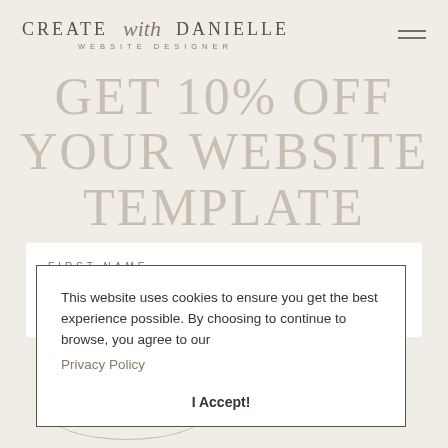[Figure (logo): Create with Danielle - Website Designer logo in serif/script lettering]
GET 10% OFF YOUR WEBSITE TEMPLATE
FIRST NAME
This website uses cookies to ensure you get the best experience possible. By choosing to continue to browse, you agree to our Privacy Policy
I Accept!